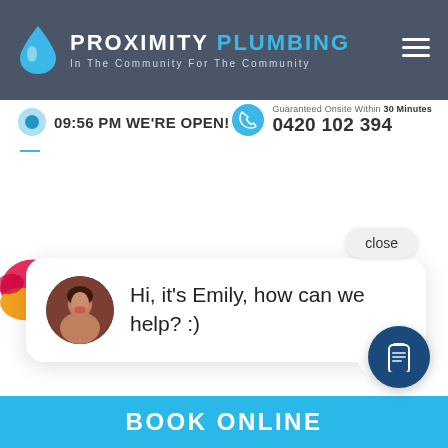[Figure (logo): Proximity Plumbing logo with blue water drop icon, company name and tagline]
09:56 PM WE'RE OPEN!
Guaranteed Onsite Within 30 Minutes
0420 102 394
close
Hi, it's Emily, how can we help? :)
[Figure (illustration): Colorful butterfly illustration at bottom left]
BOOK ONLINE